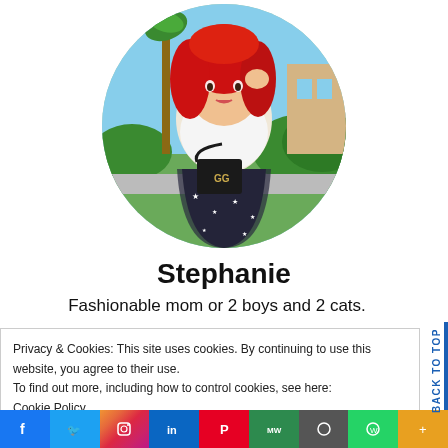[Figure (photo): Circular profile photo of a woman with bright red hair wearing a white graphic t-shirt, black tulle skirt with stars, and a black Gucci crossbody bag, posed outdoors near palm trees and greenery.]
Stephanie
Fashionable mom or 2 boys and 2 cats.
Privacy & Cookies: This site uses cookies. By continuing to use this website, you agree to their use.
To find out more, including how to control cookies, see here:
Cookie Policy
Close and accept
[Figure (other): Social media share icons bar at the bottom: Facebook (blue), Twitter (blue), Instagram (gradient), LinkedIn (blue), Pinterest (red), MW (green), another icon, WhatsApp (green), and more.]